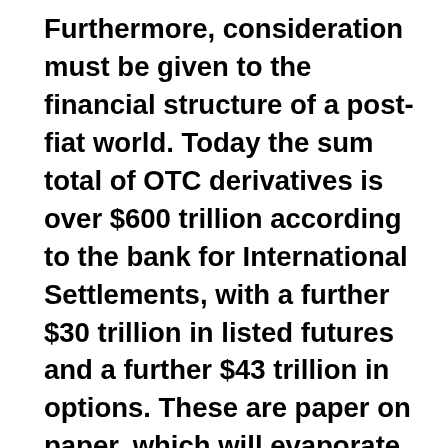Furthermore, consideration must be given to the financial structure of a post-fiat world. Today the sum total of OTC derivatives is over $600 trillion according to the bank for International Settlements, with a further $30 trillion in listed futures and a further $43 trillion in options. These are paper on paper, which will evaporate with fiat, destroying the financial world as we know it. Speculation and the pseudo-speculation of risk hedging with derivatives will die. Unfortunately for lovers of cryptocurrencies, if, as we must conclude, gold wins the race for the replacement of fiat, they will have turned out to have been mere speculation, drowned